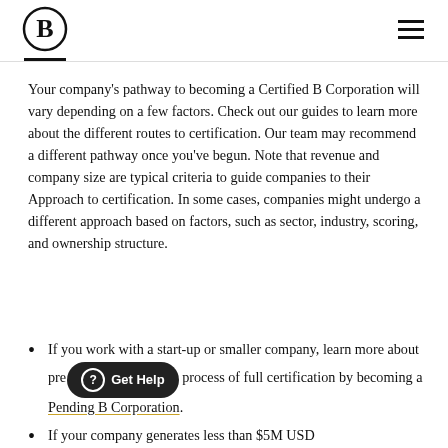B Corp logo and navigation
Your company's pathway to becoming a Certified B Corporation will vary depending on a few factors. Check out our guides to learn more about the different routes to certification. Our team may recommend a different pathway once you've begun. Note that revenue and company size are typical criteria to guide companies to their Approach to certification. In some cases, companies might undergo a different approach based on factors, such as sector, industry, scoring, and ownership structure.
If you work with a start-up or smaller company, learn more about pre[Get Help] process of full certification by becoming a Pending B Corporation.
If your company generates less than $5M USD